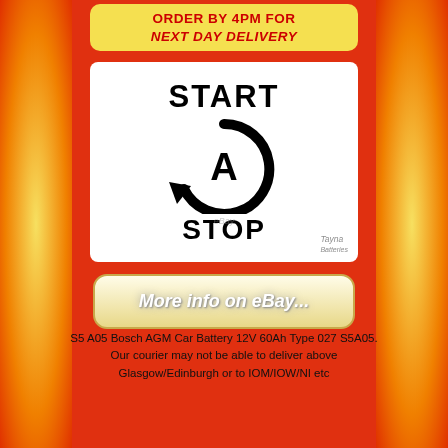[Figure (infographic): Yellow banner with red text: ORDER BY 4PM FOR NEXT DAY DELIVERY with a delivery clock icon]
[Figure (infographic): White box with Start/Stop symbol: bold text START at top, circular arrow with letter A inside, bold text STOP at bottom, Tayna Batteries watermark at bottom right]
[Figure (infographic): Button with italic text: More info on eBay...]
S5 A05 Bosch AGM Car Battery 12V 60Ah Type 027 S5A05. Our courier may not be able to deliver above Glasgow/Edinburgh or to IOM/IOW/NI etc